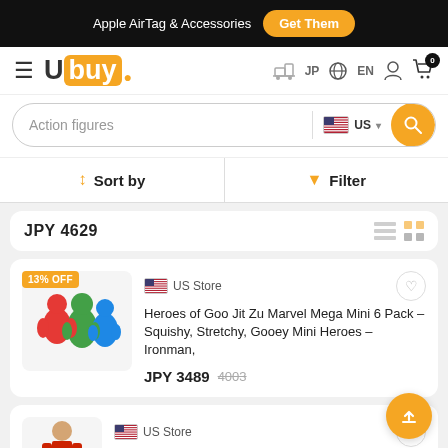Apple AirTag & Accessories  Get Them
[Figure (logo): Ubuy logo with orange square background and navigation icons: hamburger menu, ship icon, JP, globe EN, user, cart with 0 badge]
[Figure (screenshot): Search bar with placeholder 'Action figures', US flag country selector, and orange search button]
Sort by  |  Filter
JPY 4629
[Figure (photo): Heroes of Goo Jit Zu Marvel Mega Mini 6 Pack product image - colorful superhero action figures]
13% OFF
US Store
Heroes of Goo Jit Zu Marvel Mega Mini 6 Pack - Squishy, Stretchy, Gooey Mini Heroes - Ironman,
JPY 3489  4003
[Figure (photo): WWE Shawn Michaels action figure product image]
US Store
WWE® Action Figures WWE® Shawn Michaels Ultimate Edition Fan TakeOver Collectible Figure